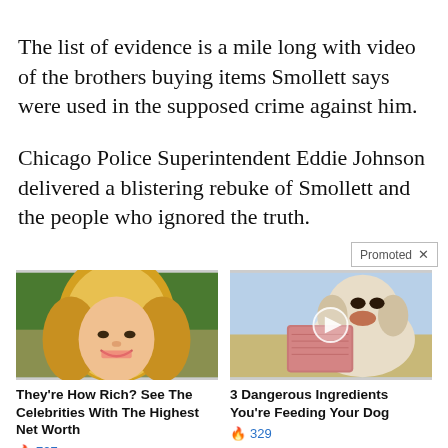The list of evidence is a mile long with video of the brothers buying items Smollett says were used in the supposed crime against him.
Chicago Police Superintendent Eddie Johnson delivered a blistering rebuke of Smollett and the people who ignored the truth.
Promoted ×
[Figure (photo): Photo of a blonde woman (celebrity) smiling]
They're How Rich? See The Celebrities With The Highest Net Worth
🔥 727
[Figure (photo): Photo of a white dog with raw meat, video play button overlay]
3 Dangerous Ingredients You're Feeding Your Dog
🔥 329